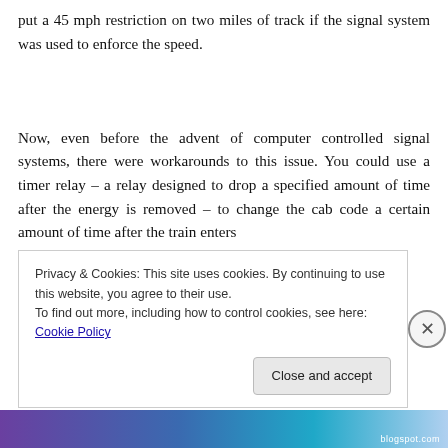put a 45 mph restriction on two miles of track if the signal system was used to enforce the speed.
Now, even before the advent of computer controlled signal systems, there were workarounds to this issue. You could use a timer relay – a relay designed to drop a specified amount of time after the energy is removed – to change the cab code a certain amount of time after the train enters
Privacy & Cookies: This site uses cookies. By continuing to use this website, you agree to their use.
To find out more, including how to control cookies, see here: Cookie Policy